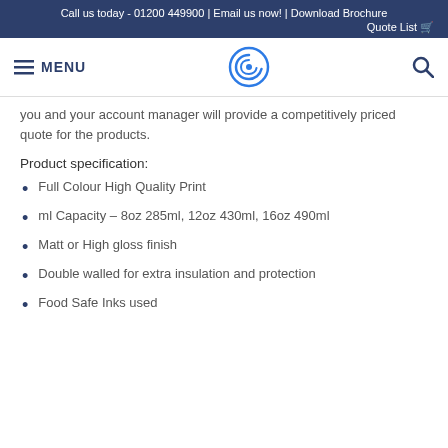Call us today - 01200 449900 | Email us now! | Download Brochure  Quote List 🛒
≡ MENU
you and your account manager will provide a competitively priced quote for the products.
Product specification:
Full Colour High Quality Print
ml Capacity – 8oz 285ml, 12oz 430ml, 16oz 490ml
Matt or High gloss finish
Double walled for extra insulation and protection
Food Safe Inks used